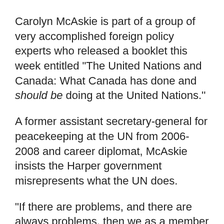Carolyn McAskie is part of a group of very accomplished foreign policy experts who released a booklet this week entitled "The United Nations and Canada: What Canada has done and should be doing at the United Nations.''
A former assistant secretary-general for peacekeeping at the UN from 2006-2008 and career diplomat, McAskie insists the Harper government misrepresents what the UN does.
"If there are problems, and there are always problems, then we as a member state have a responsibility to fix it, '' she said at a news conference.
"We walk out of meetings because North Korea is in